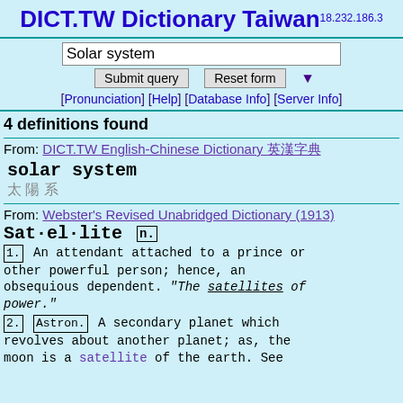DICT.TW Dictionary Taiwan 18.232.186.3
Solar system
Submit query | Reset form | ▼
[Pronunciation] [Help] [Database Info] [Server Info]
4 definitions found
From: DICT.TW English-Chinese Dictionary 英漢字典
solar system
太陽系
From: Webster's Revised Unabridged Dictionary (1913)
Sat·el·lite n.
1. An attendant attached to a prince or other powerful person; hence, an obsequious dependent. "The satellites of power."
2. Astron. A secondary planet which revolves about another planet; as, the moon is a satellite of the earth. See